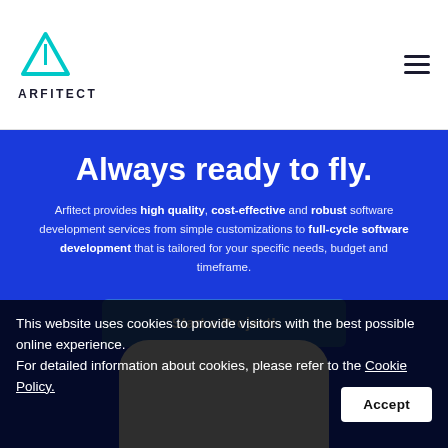[Figure (logo): Arfitect logo with cyan triangle/arrow icon above the text ARFITECT]
Always ready to fly.
Arfitect provides high quality, cost-effective and robust software development services from simple customizations to full-cycle software development that is tailored for your specific needs, budget and timeframe.
Start a Project!
This website uses cookies to provide visitors with the best possible online experience.
For detailed information about cookies, please refer to the Cookie Policy.